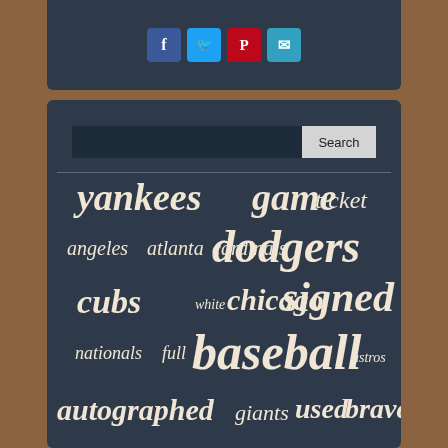[Figure (screenshot): Social share bar with Facebook, Twitter, Pinterest, and Email icons on dark navy background]
[Figure (screenshot): Search bar with text input and Search button on dark navy background]
[Figure (infographic): Word cloud with baseball-related terms: yankees, game, ticket, dodgers, angeles, atlanta, cardinals, cubs, white, chicago, signed, nationals, full, baseball, astros, autographed, giants, used, braves, champions, world, vintage, official, series, majestic, champs, jersey, rare, autograph, boston]